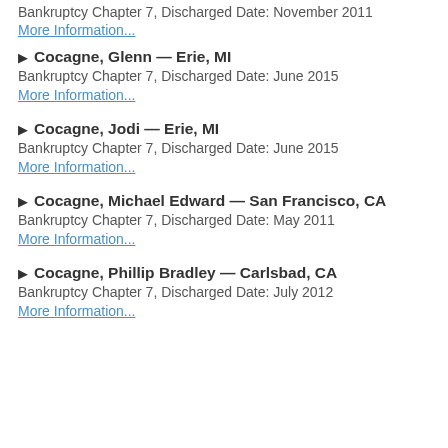Bankruptcy Chapter 7, Discharged Date: November 2011
More Information...
Cocagne, Glenn — Erie, MI
Bankruptcy Chapter 7, Discharged Date: June 2015
More Information...
Cocagne, Jodi — Erie, MI
Bankruptcy Chapter 7, Discharged Date: June 2015
More Information...
Cocagne, Michael Edward — San Francisco, CA
Bankruptcy Chapter 7, Discharged Date: May 2011
More Information...
Cocagne, Phillip Bradley — Carlsbad, CA
Bankruptcy Chapter 7, Discharged Date: July 2012
More Information...